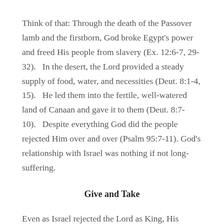Think of that: Through the death of the Passover lamb and the firstborn, God broke Egypt's power and freed His people from slavery (Ex. 12:6-7, 29-32).   In the desert, the Lord provided a steady supply of food, water, and necessities (Deut. 8:1-4, 15).   He led them into the fertile, well-watered land of Canaan and gave it to them (Deut. 8:7-10).   Despite everything God did the people rejected Him over and over (Psalm 95:7-11). God's relationship with Israel was nothing if not long-suffering.
Give and Take
Even as Israel rejected the Lord as King, His thoughts were for them. He asked Samuel to warn the people about the king for which they were asking.